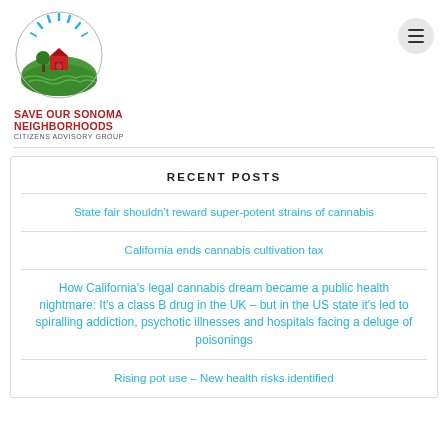[Figure (logo): Save Our Sonoma Neighborhoods Citizens Advisory Group logo — circular emblem with farm, barn, fields, and sunburst rays above green hills]
SAVE OUR SONOMA NEIGHBORHOODS
CITIZENS ADVISORY GROUP
RECENT POSTS
State fair shouldn't reward super-potent strains of cannabis
California ends cannabis cultivation tax
How California's legal cannabis dream became a public health nightmare: It's a class B drug in the UK – but in the US state it's led to spiralling addiction, psychotic illnesses and hospitals facing a deluge of poisonings
Rising pot use – New health risks identified